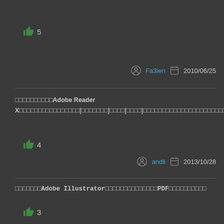👍 5
Fa3ien  2010/06/25
□□□□□□□□□□Adobe Reader X□□□□□□□□□□□□□□□□[□□□□□□□]□□□□[□□□□]□□□□□□□□□□□□□□□□□□□□□□□□□□□□□□□□□□□
👍 4
andli  2013/10/28
□□□□□□□Adobe Illustrator□□□□□□□□□□□□□□PDF□□□□□□□□□□
👍 3